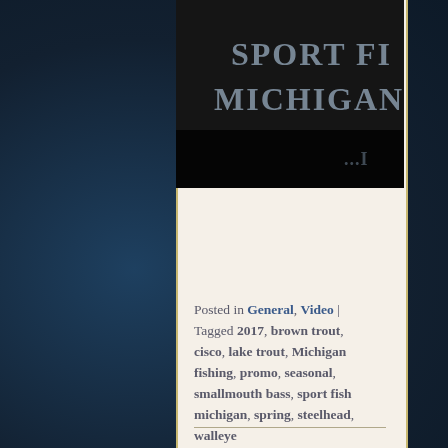[Figure (photo): A dark photograph showing text that reads 'SPORT FI... MICHIGAN' carved or embossed on a dark surface, partially visible at the top of the center panel.]
Posted in General, Video | Tagged 2017, brown trout, cisco, lake trout, Michigan fishing, promo, seasonal, smallmouth bass, sport fish michigan, spring, steelhead, walleye